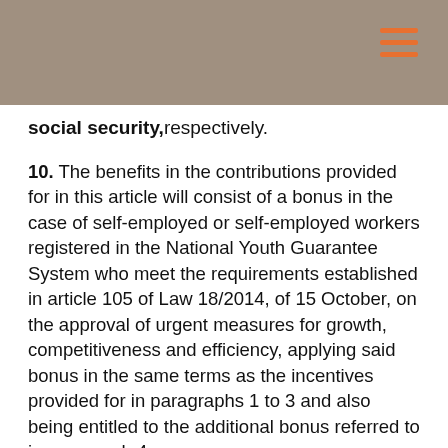social security, respectively.
10. The benefits in the contributions provided for in this article will consist of a bonus in the case of self-employed or self-employed workers registered in the National Youth Guarantee System who meet the requirements established in article 105 of Law 18/2014, of 15 October, on the approval of urgent measures for growth, competitiveness and efficiency, applying said bonus in the same terms as the incentives provided for in paragraphs 1 to 3 and also being entitled to the additional bonus referred to in paragraph 4.
11. After the maximum period of payment the contribution benefits contemplated in this